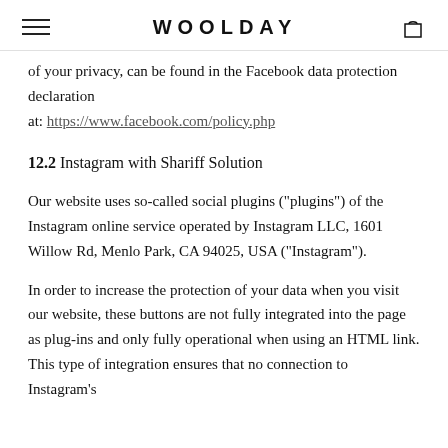WOOLDAY
of your privacy, can be found in the Facebook data protection declaration at: https://www.facebook.com/policy.php
12.2 Instagram with Shariff Solution
Our website uses so-called social plugins ("plugins") of the Instagram online service operated by Instagram LLC, 1601 Willow Rd, Menlo Park, CA 94025, USA ("Instagram").
In order to increase the protection of your data when you visit our website, these buttons are not fully integrated into the page as plug-ins and only fully operational when using an HTML link. This type of integration ensures that no connection to Instagram's